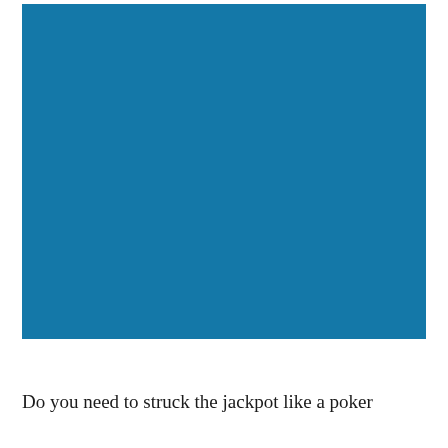[Figure (other): A large solid blue rectangle filling most of the upper portion of the page.]
Do you need to struck the jackpot like a poker